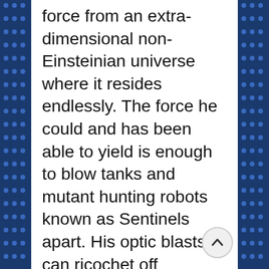force from an extra-dimensional non-Einsteinian universe where it resides endlessly. The force he could and has been able to yield is enough to blow tanks and mutant hunting robots known as Sentinels apart. His optic blasts can ricochet off surfaces and partnered with his impeccable spatial awareness, has mastered geometry and is on par if not better than Captain America with his shield. In addition thanks to years of field and leadership experience, has become one of the greatest tacticians and strategists of the Marvel universe, even being cited a by Nick Fury. It's been noted that Scott